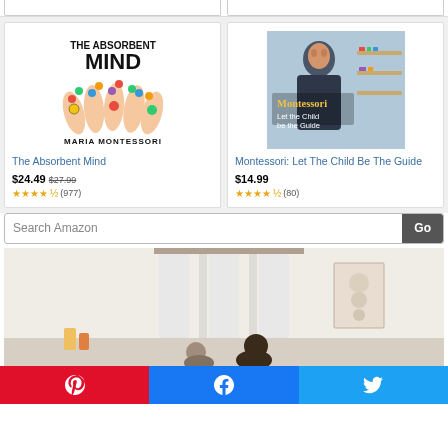[Figure (screenshot): Two book product cards side by side. Left: 'The Absorbent Mind' by Maria Montessori with colorful painted hands cover. Right: 'Montessori: Let the Child be the Guide' with photo of a boy. Each card shows price and star ratings.]
The Absorbent Mind
$24.49  $27.99
(977)
Montessori: Let The Child Be The Guide
$14.99
(80)
Search Amazon
[Figure (photo): Interior room photo showing children in a bright room with white curtains and educational wall art]
Pinterest | Facebook | Twitter social share buttons